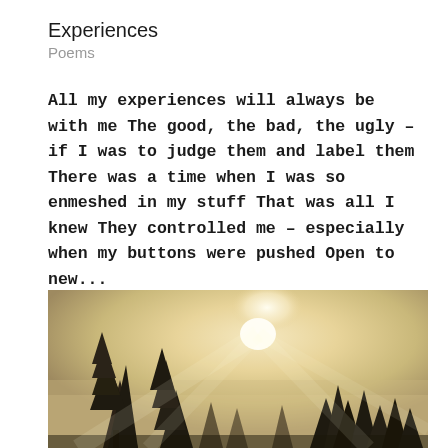Experiences
Poems
All my experiences will always be with me The good, the bad, the ugly – if I was to judge them and label them There was a time when I was so enmeshed in my stuff That was all I knew They controlled me – especially when my buttons were pushed Open to new...
[Figure (photo): Silhouette of evergreen trees against a bright misty sunrise sky in sepia/golden tones]